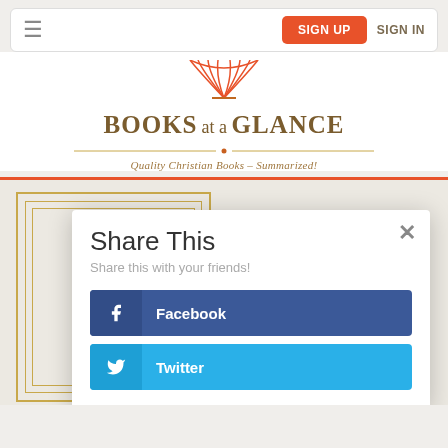≡  SIGN UP  SIGN IN
[Figure (logo): Books at a Glance logo with open book icon in orange/brown, text 'BOOKS at a GLANCE', tagline 'Quality Christian Books - Summarized!']
Share This
Share this with your friends!
Facebook
Twitter